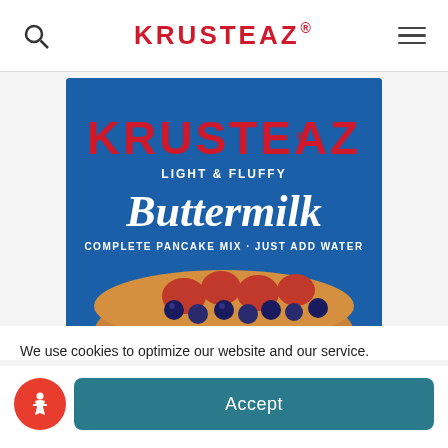[Figure (screenshot): Krusteaz website navigation bar with search icon on left, red KRUSTEAZ logo in center, and hamburger menu on right]
[Figure (photo): Krusteaz Light & Fluffy Buttermilk Complete Pancake Mix box on blue background with pancake topped with strawberries and blueberries]
We use cookies to optimize our website and our service.
[Figure (other): Accessibility icon button (red circle with wheelchair symbol)]
Accept